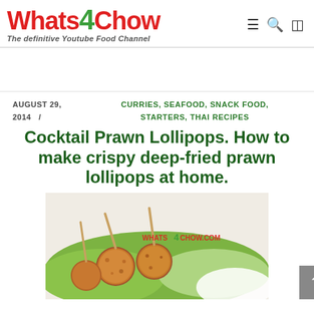Whats4Chow - The definitive Youtube Food Channel
AUGUST 29, 2014  /  CURRIES, SEAFOOD, SNACK FOOD, STARTERS, THAI RECIPES
Cocktail Prawn Lollipops. How to make crispy deep-fried prawn lollipops at home.
[Figure (photo): Photo of cocktail prawn lollipops - crispy deep-fried prawn balls on sticks, served on a plate with green garnish. Whats4Chow.com watermark visible.]